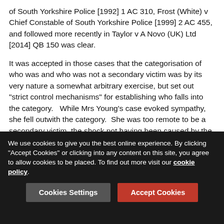of South Yorkshire Police [1992] 1 AC 310, Frost (White) v Chief Constable of South Yorkshire Police [1999] 2 AC 455, and followed more recently in Taylor v A Novo (UK) Ltd [2014] QB 150 was clear.
It was accepted in those cases that the categorisation of who was and who was not a secondary victim was by its very nature a somewhat arbitrary exercise, but set out "strict control mechanisms" for establishing who falls into the category. While Mrs Young's case evoked sympathy, she fell outwith the category. She was too remote to be a secondary victim, the shock not having been caused by the trauma of witnessing the aftermath of the accident.
Mrs Young argued that the judge had not erred in categorising her as a secondary victim. This was not a case where she had viewed the accident scene and thought nothing more of it
We use cookies to give you the best online experience. By clicking "Accept Cookies" or clicking into any content on this site, you agree to allow cookies to be placed. To find out more visit our cookie policy.